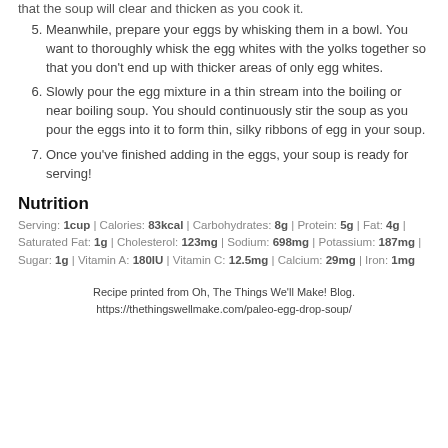that the soup will clear and thicken as you cook it.
5. Meanwhile, prepare your eggs by whisking them in a bowl. You want to thoroughly whisk the egg whites with the yolks together so that you don't end up with thicker areas of only egg whites.
6. Slowly pour the egg mixture in a thin stream into the boiling or near boiling soup. You should continuously stir the soup as you pour the eggs into it to form thin, silky ribbons of egg in your soup.
7. Once you've finished adding in the eggs, your soup is ready for serving!
Nutrition
Serving: 1cup | Calories: 83kcal | Carbohydrates: 8g | Protein: 5g | Fat: 4g | Saturated Fat: 1g | Cholesterol: 123mg | Sodium: 698mg | Potassium: 187mg | Sugar: 1g | Vitamin A: 180IU | Vitamin C: 12.5mg | Calcium: 29mg | Iron: 1mg
Recipe printed from Oh, The Things We'll Make! Blog. https://thethingswellmake.com/paleo-egg-drop-soup/